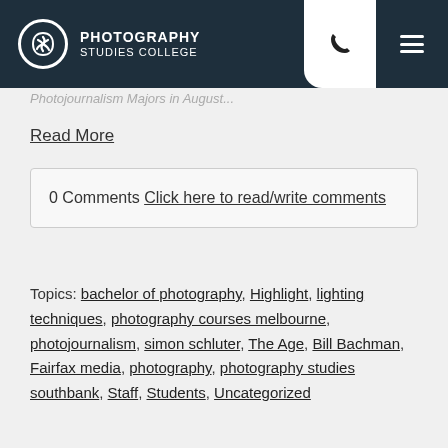Photography Studies College
Photojournalism Majors in August...
Read More
0 Comments Click here to read/write comments
Topics: bachelor of photography, Highlight, lighting techniques, photography courses melbourne, photojournalism, simon schluter, The Age, Bill Bachman, Fairfax media, photography, photography studies southbank, Staff, Students, Uncategorized